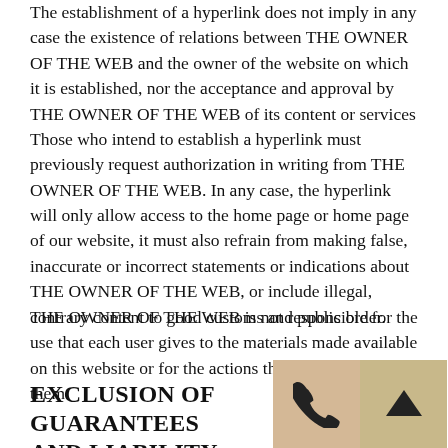The establishment of a hyperlink does not imply in any case the existence of relations between THE OWNER OF THE WEB and the owner of the website on which it is established, nor the acceptance and approval by THE OWNER OF THE WEB of its content or services Those who intend to establish a hyperlink must previously request authorization in writing from THE OWNER OF THE WEB. In any case, the hyperlink will only allow access to the home page or home page of our website, it must also refrain from making false, inaccurate or incorrect statements or indications about THE OWNER OF THE WEB, or include illegal, contrary content to good customs and public order.
THE OWNER OF THE WEB is not responsible for the use that each user gives to the materials made available on this website or for the actions they take based on them.
EXCLUSION OF GUARANTEES AND LIABILITY
[Figure (other): Two icon buttons in the bottom-right corner: a phone icon on a tan/brown background and an upward arrow icon on a khaki background.]